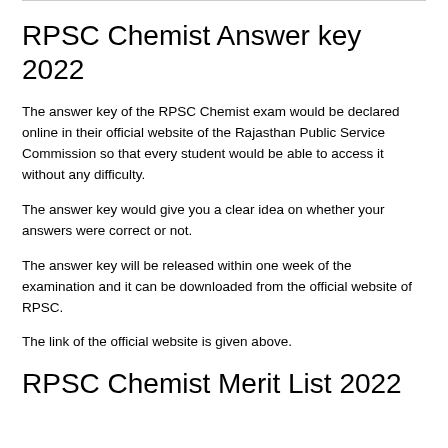RPSC Chemist Answer key 2022
The answer key of the RPSC Chemist exam would be declared online in their official website of the Rajasthan Public Service Commission so that every student would be able to access it without any difficulty.
The answer key would give you a clear idea on whether your answers were correct or not.
The answer key will be released within one week of the examination and it can be downloaded from the official website of RPSC.
The link of the official website is given above.
RPSC Chemist Merit List 2022